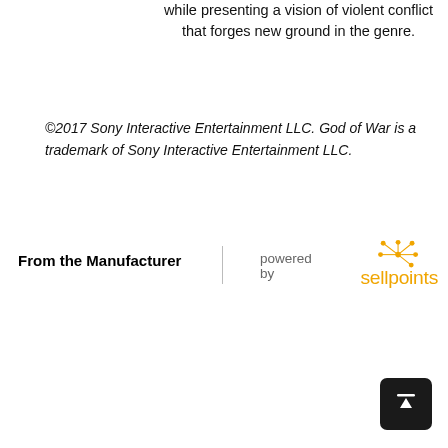while presenting a vision of violent conflict that forges new ground in the genre.
©2017 Sony Interactive Entertainment LLC. God of War is a trademark of Sony Interactive Entertainment LLC.
From the Manufacturer
[Figure (logo): Sellpoints logo with orange starburst/dots above text 'sellpoints' in orange, preceded by 'powered by' in grey]
[Figure (other): Back to top button: dark rounded square with upward arrow icon]